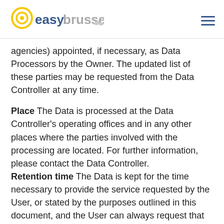easy.brussels
agencies) appointed, if necessary, as Data Processors by the Owner. The updated list of these parties may be requested from the Data Controller at any time.
Place The Data is processed at the Data Controller's operating offices and in any other places where the parties involved with the processing are located. For further information, please contact the Data Controller.
Retention time The Data is kept for the time necessary to provide the service requested by the User, or stated by the purposes outlined in this document, and the User can always request that the Data Controller suspend or remove the data.